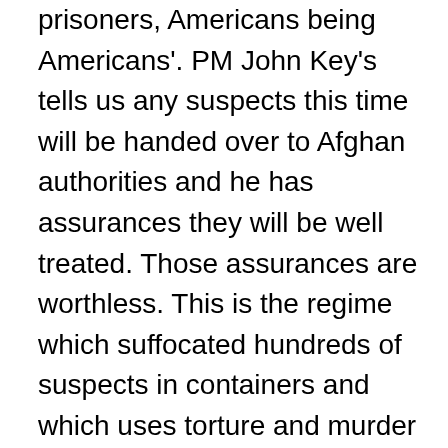prisoners, Americans being Americans'. PM John Key's tells us any suspects this time will be handed over to Afghan authorities and he has assurances they will be well treated. Those assurances are worthless. This is the regime which suffocated hundreds of suspects in containers and which uses torture and murder as its modus operandi. The assurances given to Key are paper-thin at best. There is no place for New Zealand troops or our provincial reconstruction team. Afghanistan needs money to help rebuild and this should be channelled through non-governmental organisations. The $180 million spent so far on reconstruction could have stretched a lot further if it wasn't spent on NZ soldiers doing the reconstruction work on the other side of the world.

Papakura Military Camp is the training base for the